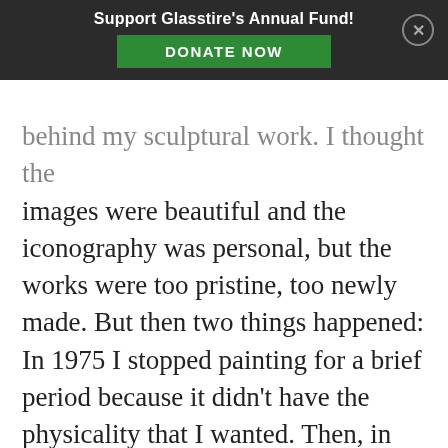Support Glasstire's Annual Fund! | DONATE NOW
behind my sculptural work. I thought the images were beautiful and the iconography was personal, but the works were too pristine, too newly made. But then two things happened: In 1975 I stopped painting for a brief period because it didn't have the physicality that I wanted. Then, in 1976, I moved to New Mexico and started doing giant collage-like works that suggested wall fragments more than traditional paintings, very much like the painting objects that I make today.